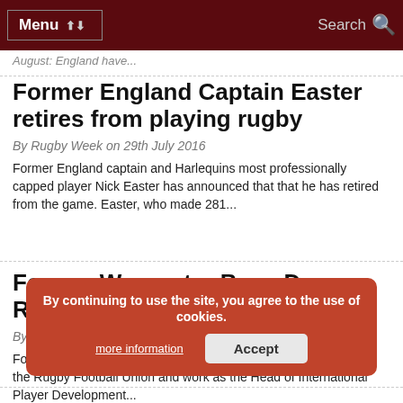Menu | Search
August: England have...
Former England Captain Easter retires from playing rugby
By Rugby Week on 29th July 2016
Former England captain and Harlequins most professionally capped player Nick Easter has announced that that he has retired from the game. Easter, who made 281...
Former Worcester Boss Dean Ryan to join RFU
By Rugby Week on 29th July 2016
Former Worcester Warriors Director of Rugby Dean Ryan will join the Rugby Football Union and work as the Head of International Player Development...
By continuing to use the site, you agree to the use of cookies. more information | Accept